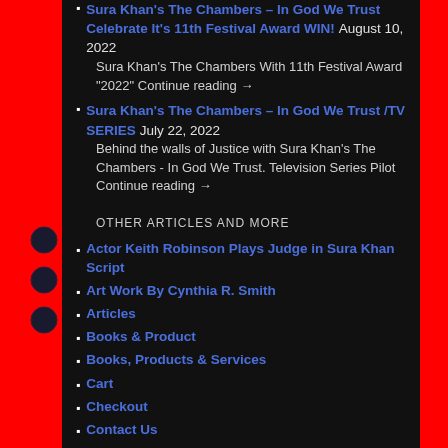Sura Khan's The Chambers – In God We Trust Celebrate It's 11th Festival Award WIN! August 10, 2022
Sura Khan's The Chambers With 11th Festival Award "2022" Continue reading →
Sura Khan's The Chambers – In God We Trust /TV SERIES July 22, 2022
Behind the walls of Justice with Sura Khan's The Chambers - In God We Trust. Television Series Pilot Continue reading →
OTHER ARTICLES AND MORE
Actor Keith Robinson Plays Judge in Sura Khan Script
Art Work By Cynthia R. Smith
Articles
Books & Product
Books, Products & Services
Cart
Checkout
Contact Us